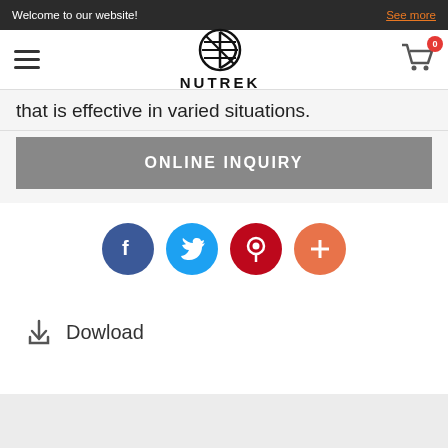Welcome to our website!
[Figure (logo): Nutrek brand logo with circular icon and NUTREK text]
that is effective in varied situations.
ONLINE INQUIRY
[Figure (infographic): Social media share icons: Facebook, Twitter, Pinterest, and a plus/more button]
Dowload